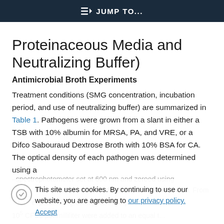JUMP TO...
Proteinaceous Media and Neutralizing Buffer)
Antimicrobial Broth Experiments
Treatment conditions (SMG concentration, incubation period, and use of neutralizing buffer) are summarized in Table 1. Pathogens were grown from a slant in either a TSB with 10% albumin for MRSA, PA, and VRE, or a Difco Sabouraud Dextrose Broth with 10% BSA for CA. The optical density of each pathogen was determined using a
This site uses cookies. By continuing to use our website, you are agreeing to our privacy policy. Accept